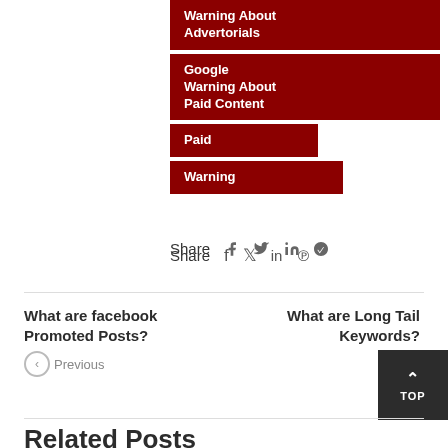Warning About Advertorials
Google Warning About Paid Content
Paid
Warning
Share
What are facebook Promoted Posts?
Previous
What are Long Tail Keywords?
Next
Related Posts